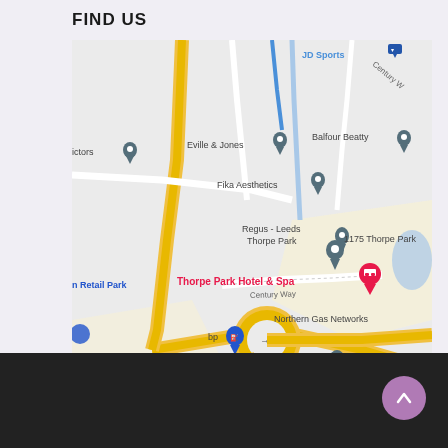FIND US
[Figure (map): Google Maps screenshot showing Thorpe Park area in Leeds. Visible landmarks include JD Sports, Eville & Jones, Balfour Beatty, Fika Aesthetics, Regus - Leeds Thorpe Park, 1175 Thorpe Park, Thorpe Park Hotel & Spa (highlighted in pink/red), Northern Gas Networks, bp fuel station, a roundabout on A6120/Century Way road, and n Retail Park on the left edge.]